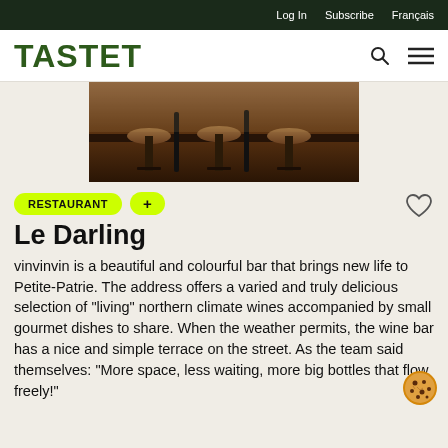Log In   Subscribe   Français
TASTET
[Figure (photo): Interior photo of a bar with wooden bar stools and dark furnishings]
RESTAURANT
+
Le Darling
vinvinvin is a beautiful and colourful bar that brings new life to Petite-Patrie. The address offers a varied and truly delicious selection of "living" northern climate wines accompanied by small gourmet dishes to share. When the weather permits, the wine bar has a nice and simple terrace on the street. As the team said themselves: "More space, less waiting, more big bottles that flow freely!"